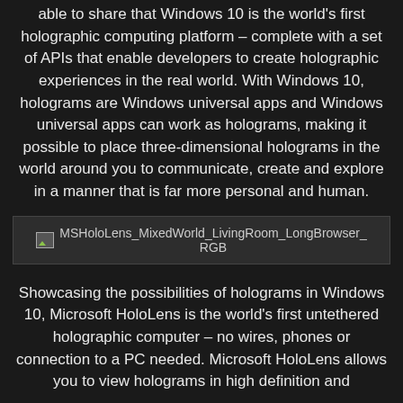able to share that Windows 10 is the world's first holographic computing platform – complete with a set of APIs that enable developers to create holographic experiences in the real world. With Windows 10, holograms are Windows universal apps and Windows universal apps can work as holograms, making it possible to place three-dimensional holograms in the world around you to communicate, create and explore in a manner that is far more personal and human.
[Figure (photo): Broken image placeholder showing MSHoloLens_MixedWorld_LivingRoom_LongBrowser_RGB]
Showcasing the possibilities of holograms in Windows 10, Microsoft HoloLens is the world's first untethered holographic computer – no wires, phones or connection to a PC needed. Microsoft HoloLens allows you to view holograms in high definition and